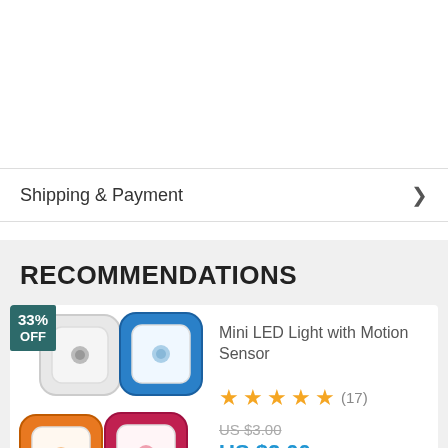Shipping & Payment
RECOMMENDATIONS
[Figure (photo): Four colorful mini LED night lights with motion sensor in white/gray, blue, orange, and pink/red colors, square-shaped with rounded corners]
Mini LED Light with Motion Sensor
★★★★★ (17)
US $3.00
US $2.00